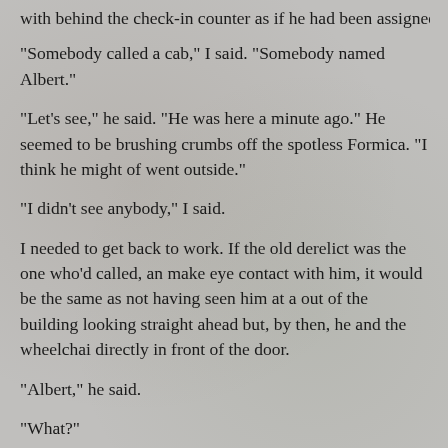with behind the check-in counter as if he had been assigned it with all the
“Somebody called a cab,” I said. “Somebody named Albert.”
“Let’s see,” he said. “He was here a minute ago.” He seemed to be brushing crumbs off the spotless Formica. “I think he might of went outside.”
“I didn’t see anybody,” I said.
I needed to get back to work. If the old derelict was the one who’d called, and make eye contact with him, it would be the same as not having seen him at a out of the building looking straight ahead but, by then, he and the wheelchai directly in front of the door.
“Albert,” he said.
“What?”
“I’m Albert,” he said. “I’m the one who called.”
I looked down on the ratty-looking, rumpled old man, probably sixty, maybe don’t know. His dim face was a welter of blotches and his scraggy beard loo on by an idiot. To look at him was to think, “homeless, filthy, wino,” in no pa order. His blue jacket had day-old puke dried on it. His nylon sweat pants wi down the sides were bunched-up around his thighs. His dirty white tennis sh unlaced and you could see the sores on his swollen ankles. A dozen or more